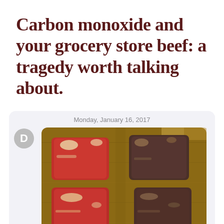Carbon monoxide and your grocery store beef: a tragedy worth talking about.
Monday, January 16, 2017
[Figure (photo): A chat message bubble showing a photo of two pairs of raw beef steaks on a wooden cutting board. The left pair is bright red/pink (fresh looking), while the right pair is dark brownish-grey (older or treated differently). The sender avatar shows the letter D.]